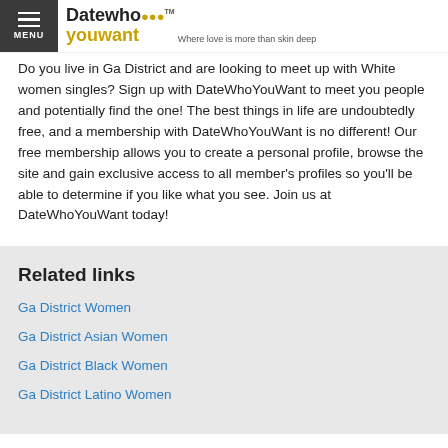MENU | DateWhoYouWant — Where love is more than skin deep
Do you live in Ga District and are looking to meet up with White women singles? Sign up with DateWhoYouWant to meet you people and potentially find the one! The best things in life are undoubtedly free, and a membership with DateWhoYouWant is no different! Our free membership allows you to create a personal profile, browse the site and gain exclusive access to all member's profiles so you'll be able to determine if you like what you see. Join us at DateWhoYouWant today!
Related links
Ga District Women
Ga District Asian Women
Ga District Black Women
Ga District Latino Women